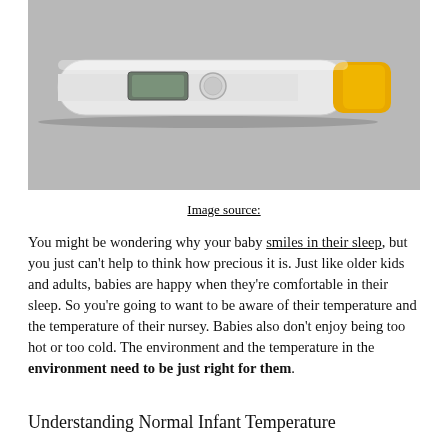[Figure (photo): A digital thermometer with a white body and yellow tip, lying on a gray surface, shown from above at an angle. It has a small LCD display and a circular button.]
Image source:
You might be wondering why your baby smiles in their sleep, but you just can't help to think how precious it is. Just like older kids and adults, babies are happy when they're comfortable in their sleep. So you're going to want to be aware of their temperature and the temperature of their nursey. Babies also don't enjoy being too hot or too cold. The environment and the temperature in the environment need to be just right for them.
Understanding Normal Infant Temperature